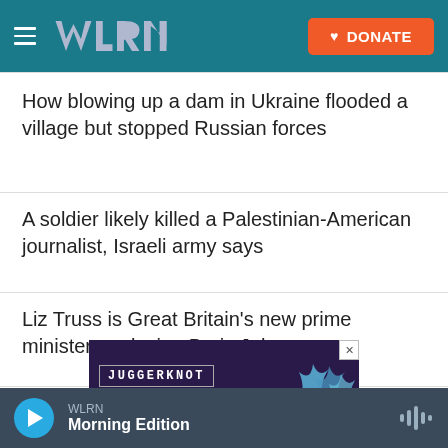WLRN — DONATE
How blowing up a dam in Ukraine flooded a village but stopped Russian forces
A soldier likely killed a Palestinian-American journalist, Israeli army says
Liz Truss is Great Britain's new prime minister, replacing Boris Johnson
[Figure (screenshot): JUGGERKNOT advertisement banner with purple background and blue flame graphic on right side]
WLRN — Morning Edition (audio player bar)